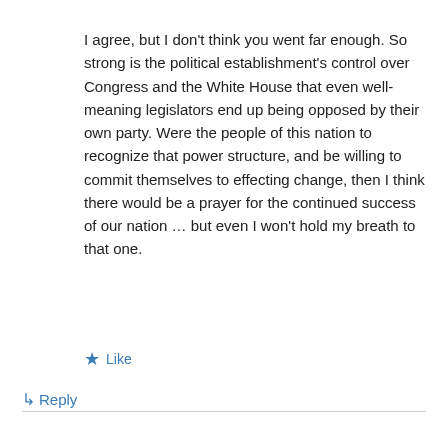I agree, but I don't think you went far enough. So strong is the political establishment's control over Congress and the White House that even well-meaning legislators end up being opposed by their own party. Were the people of this nation to recognize that power structure, and be willing to commit themselves to effecting change, then I think there would be a prayer for the continued success of our nation … but even I won't hold my breath to that one.
★ Like
↳ Reply